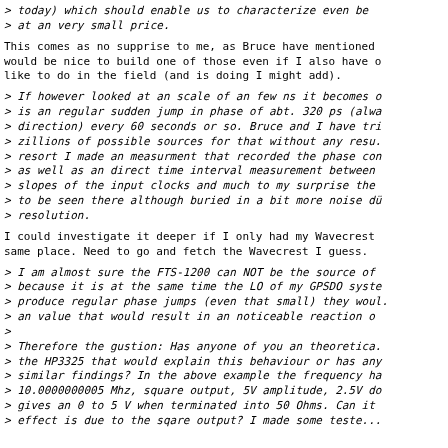> today) which should enable us to characterize even be
> at an very small price.
This comes as no supprise to me, as Bruce have mentioned would be nice to build one of those even if I also have like to do in the field (and is doing I might add).
> If however looked at an scale of an few ns it becomes
> is an regular sudden jump in phase of abt. 320 ps (alwa
> direction) every 60 seconds or so. Bruce and I have tri
> zillions of possible sources for that without any resu.
> resort I made an measurment that recorded the phase con
> as well as an direct time interval measurement between
> slopes of the input clocks and much to my surprise the
> to be seen there although buried in a bit more noise d
> resolution.
I could investigate it deeper if I only had my Wavecrest same place. Need to go and fetch the Wavecrest I guess.
> I am almost sure the FTS-1200 can NOT be the source of
> because it is at the same time the LO of my GPSDO syste
> produce regular phase jumps (even that small) they woul
> an value that would result in an noticeable reaction o
>
> Therefore the gustion: Has anyone of you an theoretica.
> the HP3325 that would explain this behaviour or has any
> similar findings? In the above example the frequency ha
> 10.0000000005 Mhz, square output, 5V amplitude, 2.5V d
> gives an 0 to 5 V when terminated into 50 Ohms. Can it
> effect is due to the sqare output? I made some teste...